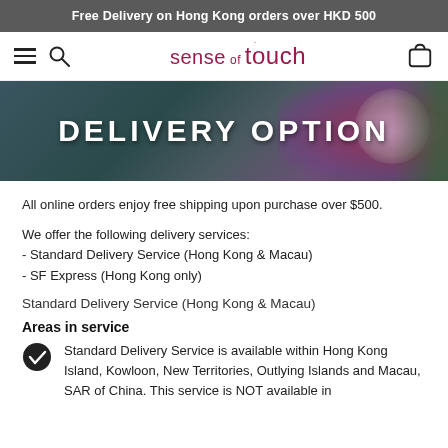Free Delivery on Hong Kong orders over HKD 500
[Figure (logo): Sense of Touch brand logo with hamburger menu, search icon, and cart icon in navigation bar]
[Figure (photo): Hero banner with dark teal/floral background showing 'DELIVERY OPTION' text in white bold letters, with orchid flowers and bowl visible on right side]
All online orders enjoy free shipping upon purchase over $500.
We offer the following delivery services:
- Standard Delivery Service (Hong Kong & Macau)
- SF Express (Hong Kong only)
Standard Delivery Service (Hong Kong & Macau)
Areas in service
Standard Delivery Service is available within Hong Kong Island, Kowloon, New Territories, Outlying Islands and Macau, SAR of China. This service is NOT available in